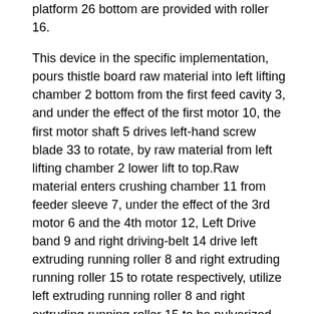platform 26 bottom are provided with roller 16.
This device in the specific implementation, pours thistle board raw material into left lifting chamber 2 bottom from the first feed cavity 3, and under the effect of the first motor 10, the first motor shaft 5 drives left-hand screw blade 33 to rotate, by raw material from left lifting chamber 2 lower lift to top.Raw material enters crushing chamber 11 from feeder sleeve 7, under the effect of the 3rd motor 6 and the 4th motor 12, Left Drive band 9 and right driving-belt 14 drive left extruding running roller 8 and right extruding running roller 15 to rotate respectively, utilize left extruding running roller 8 and right extruding running roller 15 to be pulverized by material extruding.Raw material after pulverizing drops on filter 28, and under the effect of filter 28, powder material enters blanking chamber 27 from filter bores, and the raw material do not pulverized is blocked on filter 28.Open the valve switch on feed back pipe 4, the raw material do not pulverized continues to promote pulverizing after left lifting chamber 2 got back to by feed back pipe 4.All the other raw materials are poured into the second feed cavity 1 and the 3rd feed cavity 32, all the other raw materials enter blanking chamber 27 from upper feeding